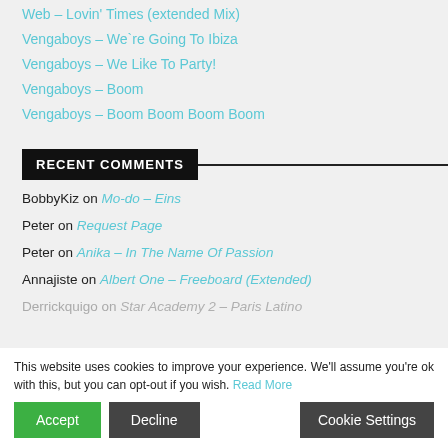Web – Lovin' Times (extended Mix)
Vengaboys – We`re Going To Ibiza
Vengaboys – We Like To Party!
Vengaboys – Boom
Vengaboys – Boom Boom Boom Boom
RECENT COMMENTS
BobbyKiz on Mo-do – Eins
Peter on Request Page
Peter on Anika – In The Name Of Passion
Annajiste on Albert One – Freeboard (Extended)
Derrickquigo on Star Academy 2 – Paris Latino
This website uses cookies to improve your experience. We'll assume you're ok with this, but you can opt-out if you wish. Read More
Accept | Decline | Cookie Settings